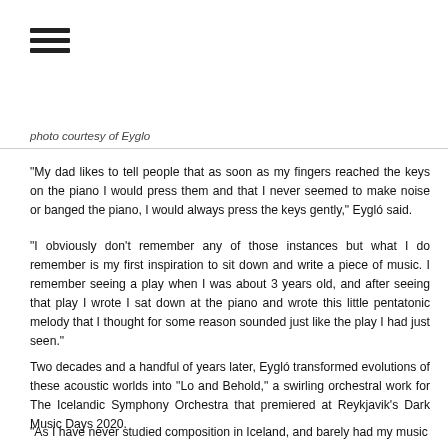[Figure (other): Hamburger menu icon with three horizontal bars]
photo courtesy of Eyglo
“My dad likes to tell people that as soon as my fingers reached the keys on the piano I would press them and that I never seemed to make noise or banged the piano, I would always press the keys gently,” Eygló said.
“I obviously don’t remember any of those instances but what I do remember is my first inspiration to sit down and write a piece of music. I remember seeing a play when I was about 3 years old, and after seeing that play I wrote I sat down at the piano and wrote this little pentatonic melody that I thought for some reason sounded just like the play I had just seen.”
Two decades and a handful of years later, Eygló transformed evolutions of these acoustic worlds into “Lo and Behold,” a swirling orchestral work for The Icelandic Symphony Orchestra that premiered at Reykjavik’s Dark Music Days 2020.
“As I have never studied composition in Iceland, and barely had my music